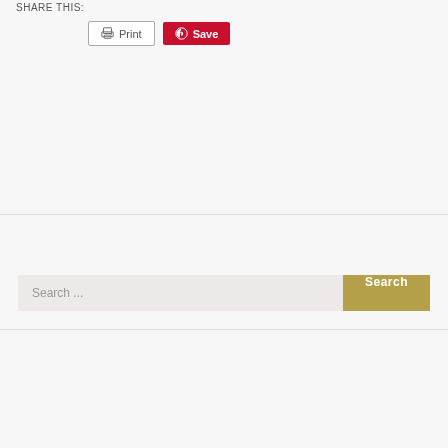SHARE THIS:
[Figure (screenshot): Print button with printer icon and Save button with Pinterest icon in red]
[Figure (screenshot): Search bar with placeholder text 'Search ...' and a gold/olive Search button]